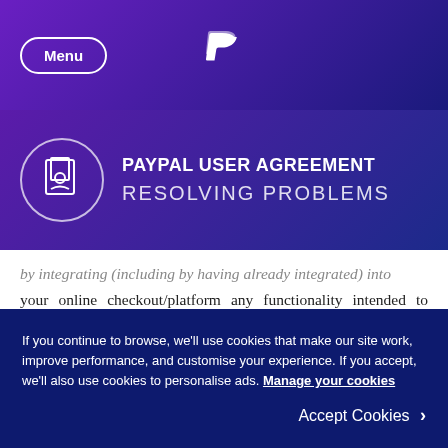Menu | PayPal (logo)
PAYPAL USER AGREEMENT
RESOLVING PROBLEMS
by integrating (including by having already integrated) into your online checkout/platform any functionality intended to enable a payer without a PayPal account to send a payment to your PayPal account, you agree to all further terms of use of that functionality which PayPal will make available to you on any page on the PayPal or Braintree website (including
If you continue to browse, we'll use cookies that make our site work, improve performance, and customise your experience. If you accept, we'll also use cookies to personalise ads. Manage your cookies
Accept Cookies >